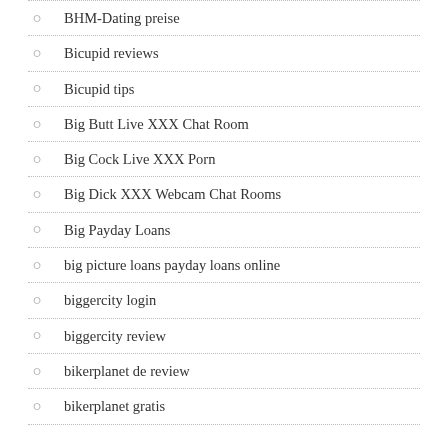BHM-Dating preise
Bicupid reviews
Bicupid tips
Big Butt Live XXX Chat Room
Big Cock Live XXX Porn
Big Dick XXX Webcam Chat Rooms
Big Payday Loans
big picture loans payday loans online
biggercity login
biggercity review
bikerplanet de review
bikerplanet gratis